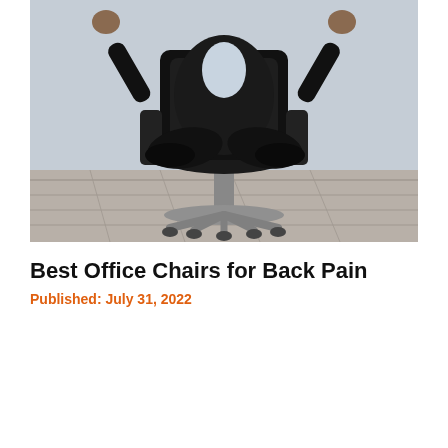[Figure (photo): A person in dark clothing sitting cross-legged in a black office chair, arms raised, against a light gray wall with a wood-grain floor. The image shows the person from roughly the waist up with their legs folded on the chair seat.]
Best Office Chairs for Back Pain
Published: July 31, 2022